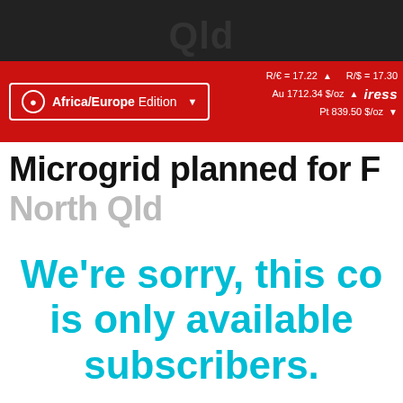Qld
Africa/Europe Edition  R/€ = 17.22 ▲  R/$ = 17.30  Au 1712.34 $/oz ▲  Pt 839.50 $/oz ▼  iress
Microgrid planned for F...
North Qld
We're sorry, this content is only available to subscribers.